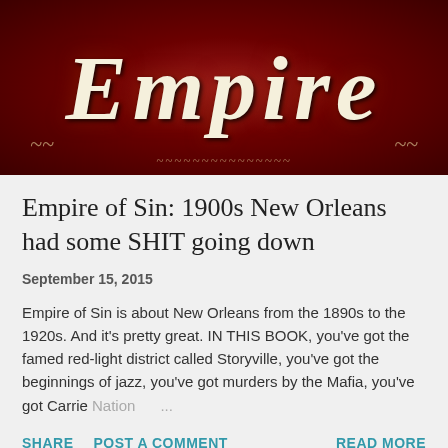[Figure (illustration): Book cover image showing the word EMPIRE in large cream/off-white italic letters on a dark red ornate background with decorative swirl elements]
Empire of Sin: 1900s New Orleans had some SHIT going down
September 15, 2015
Empire of Sin is about New Orleans from the 1890s to the 1920s. And it's pretty great. IN THIS BOOK, you've got the famed red-light district called Storyville, you've got the beginnings of jazz, you've got murders by the Mafia, you've got Carrie Nation ...
SHARE  POST A COMMENT  READ MORE